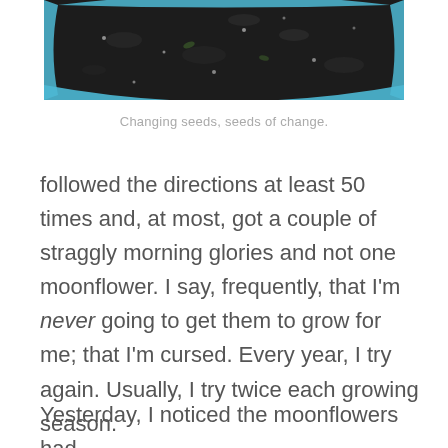[Figure (photo): Partial top view of a blue-rimmed pot filled with dark soil, photographed from above. Only the upper portion of the circular pot is visible.]
Changing seeds, seeds of change.
followed the directions at least 50 times and, at most, got a couple of straggly morning glories and not one moonflower. I say, frequently, that I'm never going to get them to grow for me; that I'm cursed. Every year, I try again. Usually, I try twice each growing season.
Yesterday, I noticed the moonflowers had